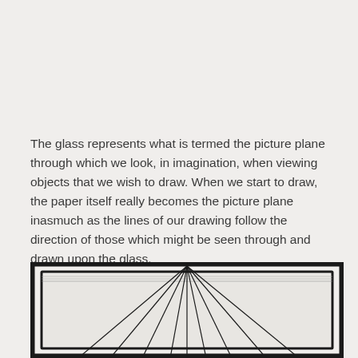The glass represents what is termed the picture plane through which we look, in imagination, when viewing objects that we wish to draw. When we start to draw, the paper itself really becomes the picture plane inasmuch as the lines of our drawing follow the direction of those which might be seen through and drawn upon the glass.
[Figure (illustration): A framed glass panel (picture plane device) shown from the front, with radiating lines drawn through it converging from a central point, illustrating perspective lines as seen through the glass frame.]